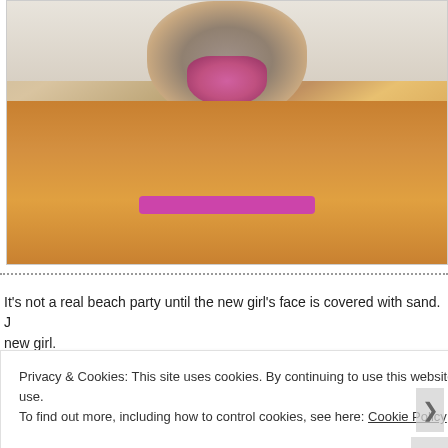[Figure (photo): Close-up photo of a golden retriever dog with sand on its snout, mouth open, wearing a pink/magenta collar, at a beach with sand visible in the background.]
It's not a real beach party until the new girl's face is covered with sand. J... new girl.
Privacy & Cookies: This site uses cookies. By continuing to use this website, you agree to their use.
To find out more, including how to control cookies, see here: Cookie Policy
Close and accept